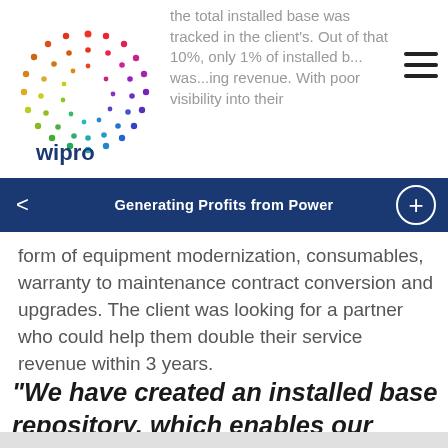the total installed base was tracked in the client's. Out of that 10%, only 1% of installed b... was...ing revenue. With poor visibility into their
[Figure (logo): Wipro logo — colorful dot-circle pattern with 'wipro' text in blue]
Generating Profits from Power
form of equipment modernization, consumables, warranty to maintenance contract conversion and upgrades. The client was looking for a partner who could help them double their service revenue within 3 years.
"We have created an installed base repository, which enables our client to re-engage and work with their customers in managing the lifecycle of